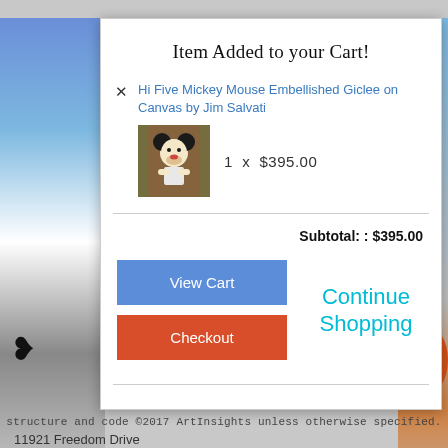Item Added to your Cart!
× Hi Five Mickey Mouse Embellished Giclee on Canvas by Jim Salvati
1  x  $395.00
Subtotal: : $395.00
View Cart
Continue Shopping
Checkout
structure and code ©2017 ArtInsights unless otherwise specified.
11921 Freedom Drive